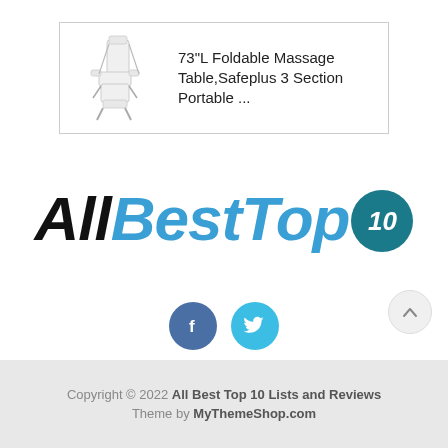[Figure (screenshot): Product listing card showing a foldable massage table/chair image on left and product title text on right, inside a bordered box]
73"L Foldable Massage Table,Safeplus 3 Section Portable ...
[Figure (logo): AllBestTop10 logo: italic bold text 'All' in black, 'BestTop' in blue, with a dark teal circle badge containing '10']
[Figure (infographic): Social media icon buttons: Facebook (blue circle with 'f') and Twitter (light blue circle with bird icon)]
Copyright © 2022 All Best Top 10 Lists and Reviews Theme by MyThemeShop.com